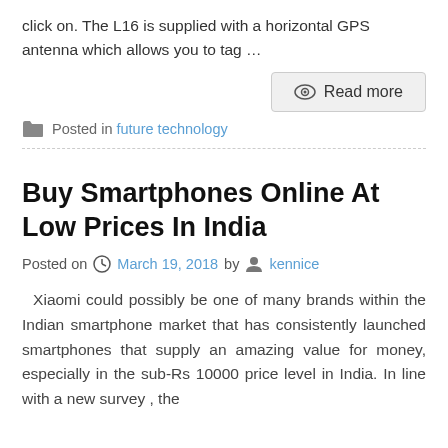click on. The L16 is supplied with a horizontal GPS antenna which allows you to tag …
Read more
Posted in future technology
Buy Smartphones Online At Low Prices In India
Posted on March 19, 2018 by kennice
Xiaomi could possibly be one of many brands within the Indian smartphone market that has consistently launched smartphones that supply an amazing value for money, especially in the sub-Rs 10000 price level in India. In line with a new survey , the